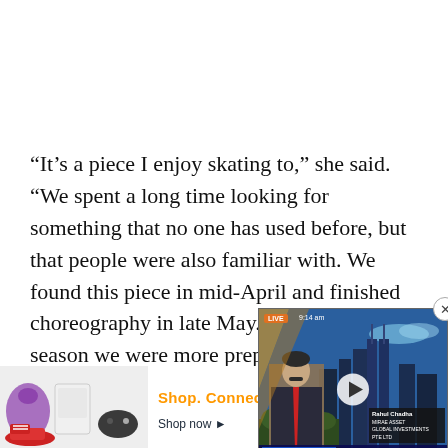“It’s a piece I enjoy skating to,” she said. “We spent a long time looking for something that no one has used before, but that people were also familiar with. We found this piece in mid-April and finished choreography in late May. I think this season we were more prepared with th…
[Figure (screenshot): A video overlay showing a news broadcast. A man in a suit with a red tie is on screen against a city skyline background (Kuala Lumpur). A LIVE badge and time '9:14 am' are shown. Lower thirds read 'ASIAN STOCKS HOVER NEAR 6-WEEK LOWS' and a name card shows 'Rahul Chadha, Mirae Asset Global Investments Pte Ltd'. A play button is visible.]
Han has also been able to c… skating. She was accepted…
[Figure (screenshot): Amazon advertisement banner. Shows product images (cat toy, white appliance, red sneakers, game controller), text 'Shop. Connect. Enjoy.' in orange and black, 'amazon' logo, 'Shop now' arrow, and 'Privacy' link.]